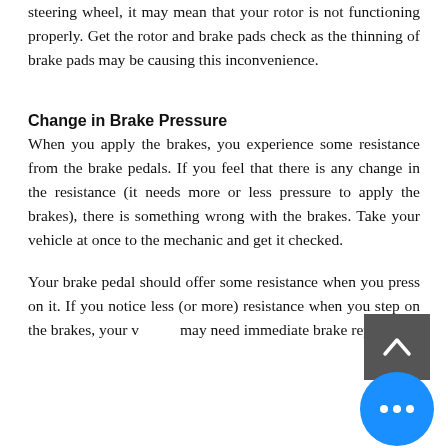steering wheel, it may mean that your rotor is not functioning properly. Get the rotor and brake pads check as the thinning of brake pads may be causing this inconvenience.
Change in Brake Pressure
When you apply the brakes, you experience some resistance from the brake pedals. If you feel that there is any change in the resistance (it needs more or less pressure to apply the brakes), there is something wrong with the brakes. Take your vehicle at once to the mechanic and get it checked.
Your brake pedal should offer some resistance when you press on it. If you notice less (or more) resistance when you step on the brakes, your vehicle may need immediate brake repair.